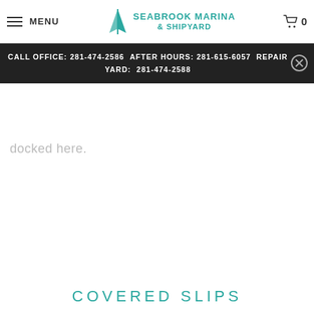MENU | Seabrook Marina & Shipyard | Cart 0
CALL OFFICE: 281-474-2586 AFTER HOURS: 281-615-6057 REPAIR YARD: 281-474-2588
docked here.
COVERED SLIPS